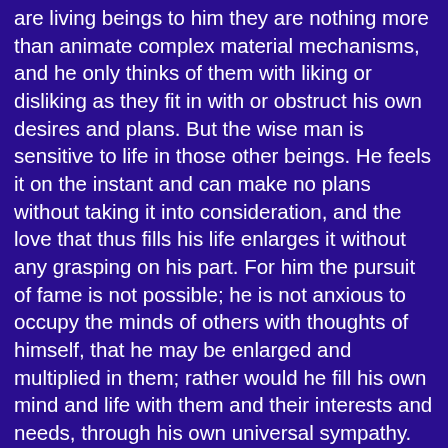are living beings to him they are nothing more than animate complex material mechanisms, and he only thinks of them with liking or disliking as they fit in with or obstruct his own desires and plans. But the wise man is sensitive to life in those other beings. He feels it on the instant and can make no plans without taking it into consideration, and the love that thus fills his life enlarges it without any grasping on his part. For him the pursuit of fame is not possible; he is not anxious to occupy the minds of others with thoughts of himself, that he may be enlarged and multiplied in them; rather would he fill his own mind and life with them and their interests and needs, through his own universal sympathy.
Love introduces us to life, not only physically, leading to our birth in the world; but also every moment of our lives it opens up in ready sensitiveness and leads us to new experience and duty. Every one has a picture in mind of the old-fashioned miser, who used to go down into his cellar or up to his garret, candle in hand, and lock himself in to gloat over his treasure, to pour his gold and jewels over neck and arms, and bathe in them with morbid pleasure. And yet it was no pleasure, for the man was always full of fear, jumping at every moving shadow cast by his flickering candle, starting at every sound; and it was literally true that that man's selfishness brought with it a shrinking from contact with others, a terrible narrowing of his life. But love